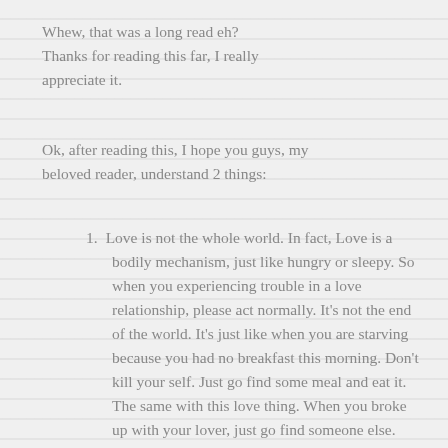Whew, that was a long read eh? Thanks for reading this far, I really appreciate it.
Ok, after reading this, I hope you guys, my beloved reader, understand 2 things:
Love is not the whole world. In fact, Love is a bodily mechanism, just like hungry or sleepy. So when you experiencing trouble in a love relationship, please act normally. It's not the end of the world. It's just like when you are starving because you had no breakfast this morning. Don't kill your self. Just go find some meal and eat it. The same with this love thing. When you broke up with your lover, just go find someone else. Love is about perception and acceptance. Your